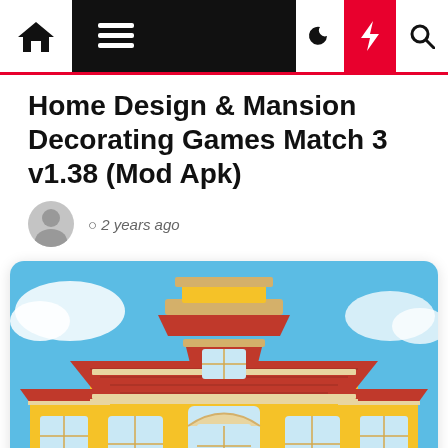Home Design & Mansion Decorating Games Match 3 v1.38 (Mod Apk) navigation bar
Home Design & Mansion Decorating Games Match 3 v1.38 (Mod Apk)
2 years ago
[Figure (illustration): Cartoon illustration of a yellow mansion/house with a large red tile roof, arched windows, and a blue sky background — game art for Home Design & Mansion Decorating Games Match 3]